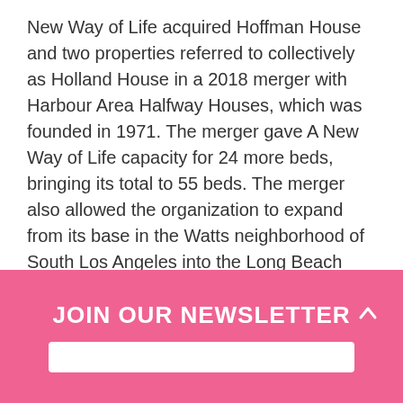New Way of Life acquired Hoffman House and two properties referred to collectively as Holland House in a 2018 merger with Harbour Area Halfway Houses, which was founded in 1971. The merger gave A New Way of Life capacity for 24 more beds, bringing its total to 55 beds. The merger also allowed the organization to expand from its base in the Watts neighborhood of South Los Angeles into the Long Beach area.
JOIN OUR NEWSLETTER